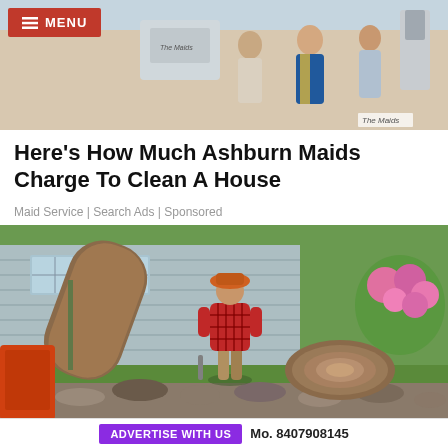[Figure (photo): Photo of The Maids cleaning service workers in uniform holding cleaning equipment, with a menu button overlay in top-left corner]
Here's How Much Ashburn Maids Charge To Clean A House
Maid Service | Search Ads | Sponsored
[Figure (photo): Photo of a man in red plaid shirt and orange hat standing next to a large fallen tree trunk in a yard with a house and flowering bushes in background]
ADVERTISE WITH US   Mo. 8407908145